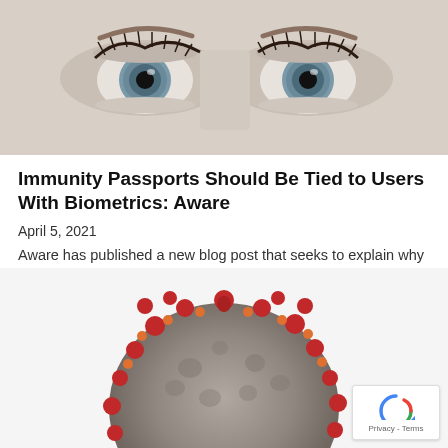[Figure (photo): Close-up photo of a person's eyes with light grey/blue irises, prominent eyelashes, fair skin]
Immunity Passports Should Be Tied to Users With Biometrics: Aware
April 5, 2021
Aware has published a new blog post that seeks to explain why biometrics will be such an important part of the vaccination conversation, especially with [...]
[Figure (photo): 3D rendering of a coronavirus particle, grey spherical body with red spike proteins]
[Figure (other): reCAPTCHA badge with recycling arrow logo and Privacy - Terms text]